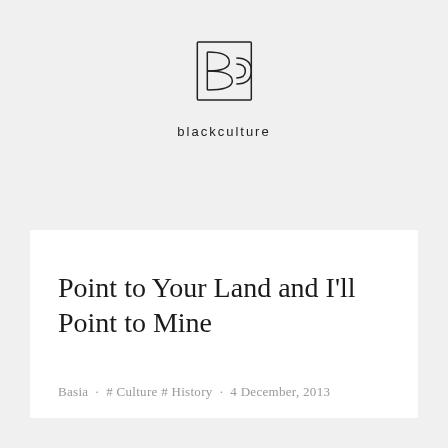[Figure (logo): Black Culture logo — stylized BC lettermark inside a square outline, with 'blackculture' text below in spaced sans-serif]
Point to Your Land and I'll Point to Mine
Basia · # Culture # History · 4 December, 2013